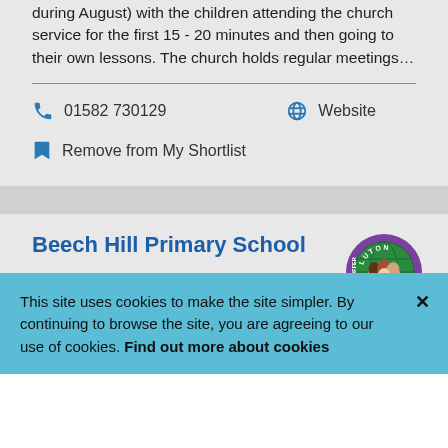during August) with the children attending the church service for the first 15 - 20 minutes and then going to their own lessons. The church holds regular meetings…
01582 730129
Website
Remove from My Shortlist
Beech Hill Primary School
Dunstable Road, Luton, Bedfordshire, LU4 8BW
[Figure (logo): Luton Local Offer circular logo with clasped hands in multiple skin tones on a globe background]
This site uses cookies to make the site simpler. By continuing to browse the site, you are agreeing to our use of cookies. Find out more about cookies